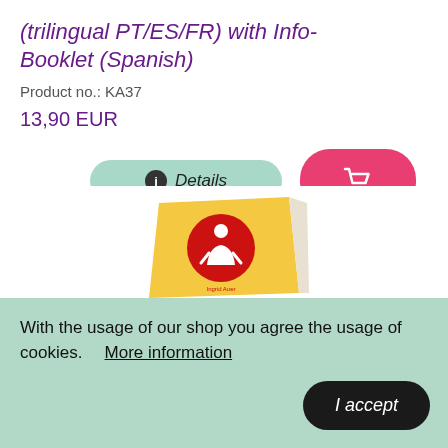(trilingual PT/ES/FR) with Info-Booklet (Spanish)
Product no.: KA37
13,90 EUR
[Figure (other): Details button (mint/green pill shape with info icon) and shopping cart button (pink pill shape with cart icon)]
[Figure (photo): Product booklet with yellow/orange cover and red circular logo with a person figure icon, text reads 'Ingrid Auer']
With the usage of our shop you agree the usage of cookies.   More information
I accept